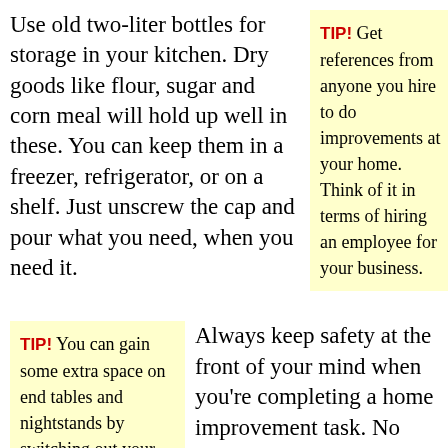Use old two-liter bottles for storage in your kitchen. Dry goods like flour, sugar and corn meal will hold up well in these. You can keep them in a freezer, refrigerator, or on a shelf. Just unscrew the cap and pour what you need, when you need it.
TIP! Get references from anyone you hire to do improvements at your home. Think of it in terms of hiring an employee for your business.
TIP! You can gain some extra space on end tables and nightstands by switching out your table lamps for floor lamps. They are portable.
Always keep safety at the front of your mind when you're completing a home improvement task. No matter what sort of task you take on, there is some risk. Make certain you know how to use your power tools by